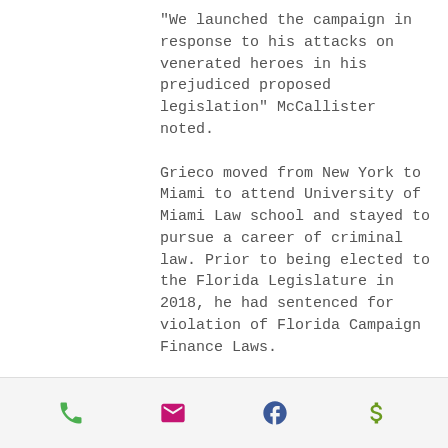“We launched the campaign in response to his attacks on venerated heroes in his prejudiced proposed legislation” McCallister noted.
Grieco moved from New York to Miami to attend University of Miami Law school and stayed to pursue a career of criminal law. Prior to being elected to the Florida Legislature in 2018, he had sentenced for violation of Florida Campaign Finance Laws.
“Greico is another example of why some transplants have a bad name.  They have no respect for the true diversity in our state”  McCallister said.
Phone | Email | Facebook | Donate